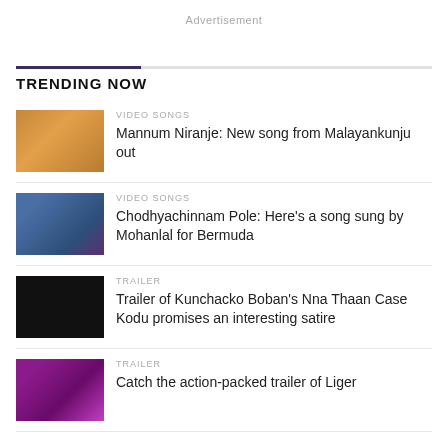Advertisement
TRENDING NOW
VIDEO SONGS
Mannum Niranje: New song from Malayankunju out
VIDEO SONGS
Chodhyachinnam Pole: Here's a song sung by Mohanlal for Bermuda
TRAILER
Trailer of Kunchacko Boban's Nna Thaan Case Kodu promises an interesting satire
TRAILER
Catch the action-packed trailer of Liger